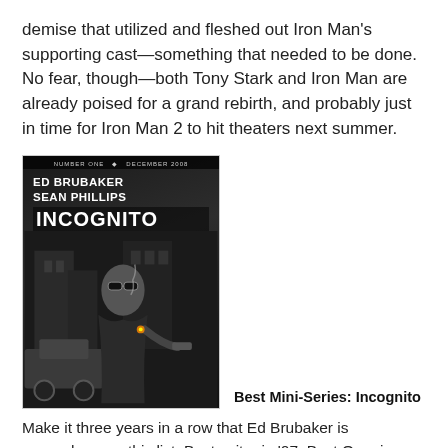demise that utilized and fleshed out Iron Man's supporting cast—something that needed to be done. No fear, though—both Tony Stark and Iron Man are already poised for a grand rebirth, and probably just in time for Iron Man 2 to hit theaters next summer.
[Figure (photo): Comic book cover of Incognito #1 by Ed Brubaker and Sean Phillips, December 2008. Black and white noir style cover showing a man in sunglasses smoking a cigarette.]
Best Mini-Series: Incognito
Make it three years in a row that Ed Brubaker is somewhere on this list. Best writer in '07, Best Ongoing (for Criminal) in '08, and his reign only continues. Incognito was a sci-fi/pulp/superhero story that had everything you could have wanted—action, double-crosses, mad scientists—packed into it. Brubaker and Sean Philips put their brilliant Criminal